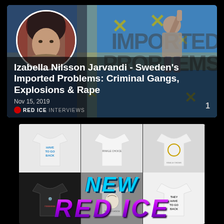[Figure (screenshot): Video thumbnail card: circular portrait of Izabella Nilsson Jarvandi on left, Swedish flag and protest scene background on right, with watermark text 'IMPORTED PROBLEMS' in dark letters, overlay text block at bottom with title and date, Red Ice Interviews badge, and number 1.]
Izabella Nilsson Jarvandi - Sweden's Imported Problems: Criminal Gangs, Explosions & Rape
Nov 15, 2019
[Figure (screenshot): Collage of t-shirts in a grid layout. Top row shows white t-shirts with various slogans. Bottom row shows dark and light t-shirts. Overlaid large italic text 'NEW' in cyan/blue gradient, and large bold italic text 'RED ICE' in purple gradient at the bottom.]